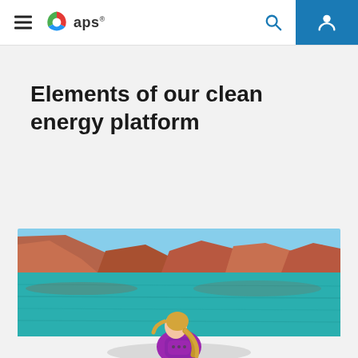APS navigation bar with hamburger menu, APS logo, search icon, and user account icon
Elements of our clean energy platform
[Figure (photo): A young girl with a blonde braid wearing a purple life jacket sits in a boat on a turquoise lake, with red rock canyon cliffs in the background under a blue sky.]